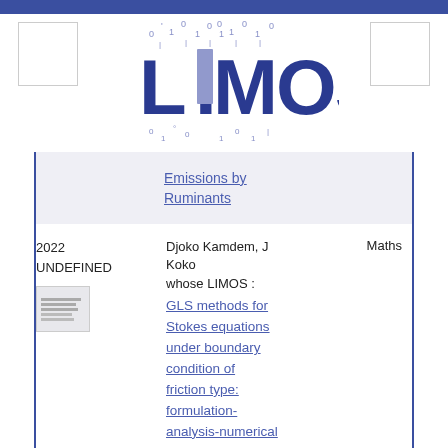[Figure (logo): LIMOS laboratory logo with binary digits and bold blue text]
Emissions by Ruminants
2022
UNDEFINED
Djoko Kamdem, J Koko
Maths
whose LIMOS :
GLS methods for Stokes equations under boundary condition of friction type: formulation-analysis-numerical schemes and simulations